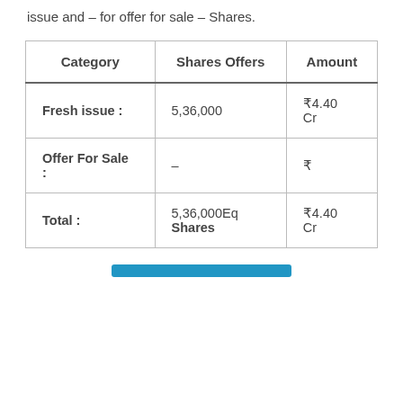issue and – for offer for sale – Shares.
| Category | Shares Offers | Amount |
| --- | --- | --- |
| Fresh issue : | 5,36,000 | ₹4.40 Cr |
| Offer For Sale : | – | ₹ |
| Total : | 5,36,000Eq Shares | ₹4.40 Cr |